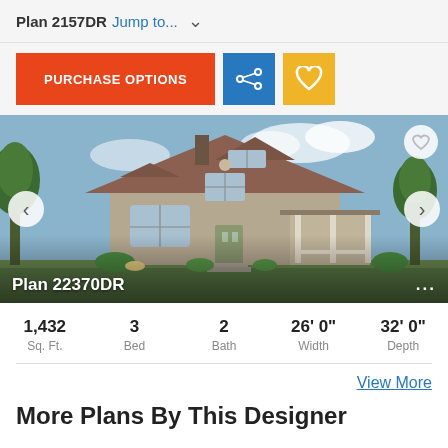Plan 2157DR  Jump to...
PURCHASE OPTIONS
[Figure (photo): Front elevation rendering of a two-story craftsman-style house labeled Plan 22370DR, with covered porch, dormer window, and landscaping. Navigation arrows on left and right. Favorite heart icon top-right.]
| 1,432 Sq. Ft. | 3 Bed | 2 Bath | 26' 0" Width | 32' 0" Depth |
| --- | --- | --- | --- | --- |
View More
More Plans By This Designer